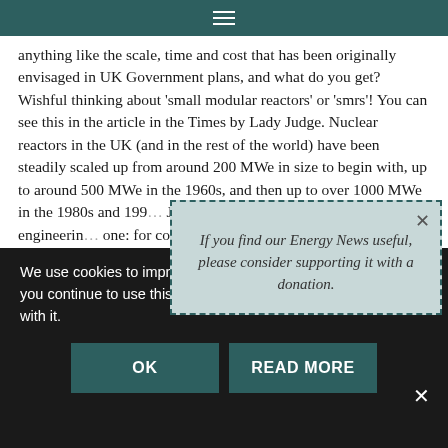≡
anything like the scale, time and cost that has been originally envisaged in UK Government plans, and what do you get? Wishful thinking about 'small modular reactors' or 'smrs'! You can see this in the article in the Times by Lady Judge. Nuclear reactors in the UK (and in the rest of the world) have been steadily scaled up from around 200 MWe in size to begin with, up to around 500 MWe in the 1960s, and then up to over 1000 MWe in the 1980s and 199... Judge's article, this w... are sound engineerin... one: for complex ma... ensure (safe) functio... same input for desig...
If you find our Energy News useful, please consider supporting it with a donation.
We use cookies to improve your experience on our website. If you continue to use this site we will assume that you are happy with it.
OK
READ MORE